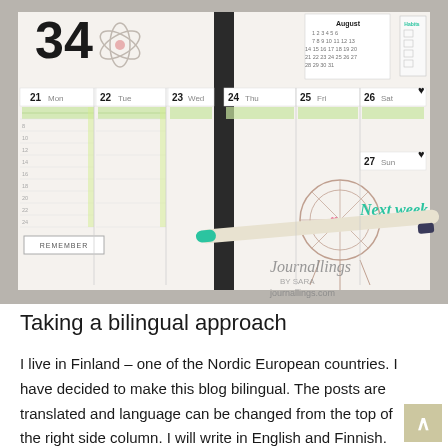[Figure (photo): A photo of an open bullet journal/planner spread showing week 34, with days 21 Mon through 27 Sun for August, decorated with a dreamcatcher drawing, green striped stickers, a pen lying across the pages, and the watermark 'journallings.com'. The left page has a 'REMEMBER' section.]
Taking a bilingual approach
I live in Finland – one of the Nordic European countries. I have decided to make this blog bilingual. The posts are translated and language can be changed from the top of the right side column. I will write in English and Finnish. Finnish is my native